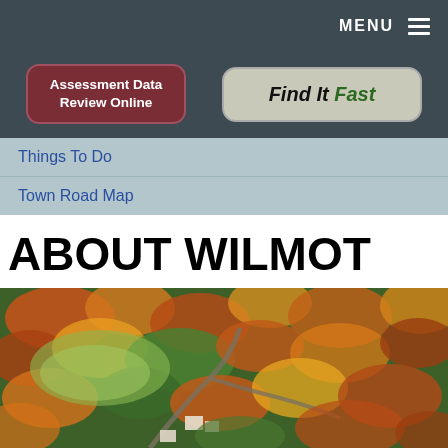MENU
[Figure (screenshot): Assessment Data Review Online button - dark red rounded rectangle button with white text]
[Figure (screenshot): Find It Fast button - light gray rounded rectangle with bold italic text, 'Find It' in black and 'Fast' in dark green]
Things To Do
Town Road Map
ABOUT WILMOT
[Figure (photo): Aerial autumn photograph of Wilmot town showing fall foliage with orange, red, yellow and green trees, roads, and a few buildings visible from above]